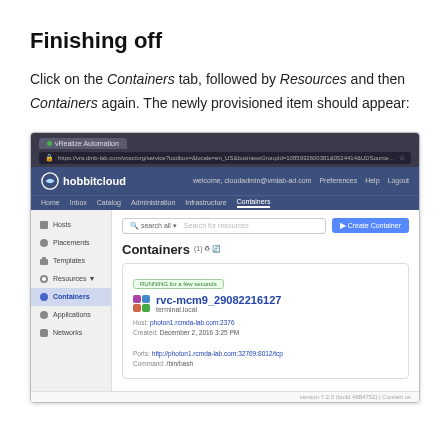Finishing off
Click on the Containers tab, followed by Resources and then Containers again. The newly provisioned item should appear:
[Figure (screenshot): Screenshot of the hobbitcloud web application showing the Containers page with one running container named rvc-mcm9_29082216127 with terminal.local tag. The UI shows a browser chrome with a dark address bar, a navy blue top navigation with hobbitcloud logo, a left sidebar with items (Hosts, Placements, Templates, Resources, Containers, Applications, Networks), and a main content area showing the Containers list with a running container card.]